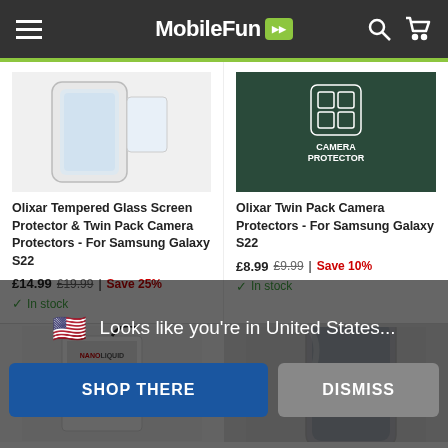MobileFun
[Figure (photo): Olixar tempered glass screen protector product image for Samsung Galaxy S22]
Olixar Tempered Glass Screen Protector & Twin Pack Camera Protectors - For Samsung Galaxy S22
£14.99  £19.99 | Save 25%
✓ In stock
[Figure (photo): Olixar twin pack camera protectors product image with 'CAMERA PROTECTOR' label, for Samsung Galaxy S22]
Olixar Twin Pack Camera Protectors - For Samsung Galaxy S22
£8.99  £9.99 | Save 10%
✓ In stock
[Figure (photo): Nano Liquid screen protector product box (Olixar brand)]
[Figure (photo): Phone case product image for Samsung Galaxy S22]
Looks like you're in United States...
SHOP THERE
DISMISS